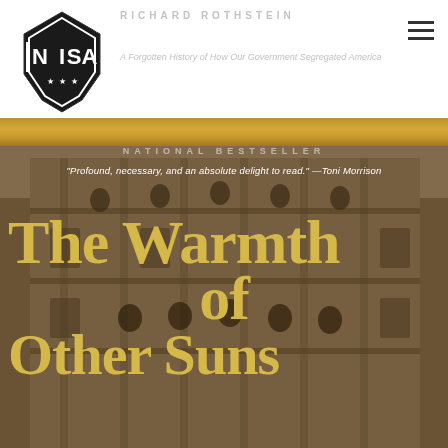[Figure (logo): NISA shield logo with stars and letters N, I, S, A inside a hexagonal shield shape with TM mark]
RICHARD ROTHSTEIN
A Forgotten History of How Our Government Segregated America
[Figure (photo): Sepia-toned historical photograph of groups of African American people gathered on the balconies and steps of an ornate brick building]
NATIONAL BESTSELLER
"Profound, necessary, and an absolute delight to read." —Toni Morrison
The Warmth of Other Suns